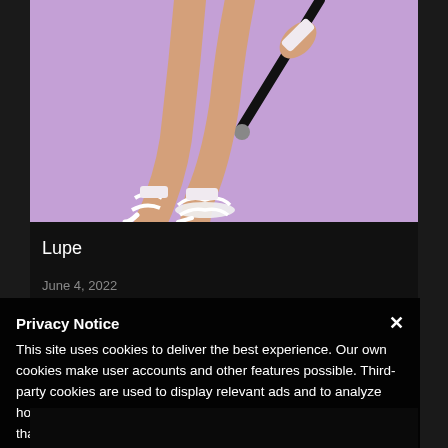[Figure (photo): Cropped photo of a woman's legs wearing white strappy high heels and white ankle cuffs, holding a dark cane/stick, against a purple/lavender background]
Lupe
June 4, 2022
Privacy Notice
This site uses cookies to deliver the best experience. Our own cookies make user accounts and other features possible. Third-party cookies are used to display relevant ads and to analyze how Renderosity is used. By using our site, you acknowledge that you have read and understood our Terms of Service, including our Cookie Policy and our Privacy Policy.